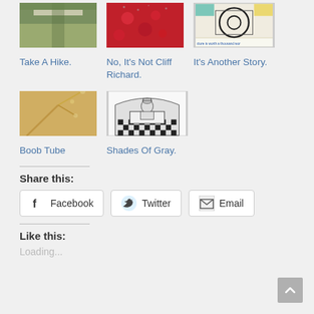[Figure (photo): Thumbnail of a trail/path in a forest or park]
[Figure (photo): Thumbnail of red berries or fruit close-up]
[Figure (photo): Thumbnail of an abstract painting with text 'a picture is worth a thousand words, Painting: Circles Within A Circle by Wassily Kandinsky, 1923']
Take A Hike.
No, It's Not Cliff Richard.
It's Another Story.
[Figure (photo): Thumbnail of golden/orange plant branches close-up]
[Figure (illustration): Black and white illustration of a medieval figure seated at a checkered chessboard]
Boob Tube
Shades Of Gray.
Share this:
Facebook
Twitter
Email
Like this:
Loading...